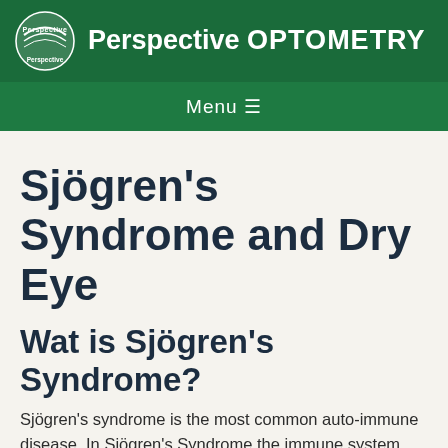Perspective OPTOMETRY
Menu ≡
Sjögren's Syndrome and Dry Eye
Wat is Sjögren's Syndrome?
Sjögren's syndrome is the most common auto-immune disease. In Sjögren's Syndrome the immune system